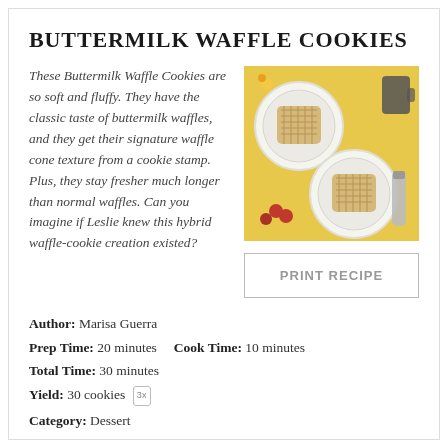BUTTERMILK WAFFLE COOKIES
These Buttermilk Waffle Cookies are so soft and fluffy. They have the classic taste of buttermilk waffles, and they get their signature waffle cone texture from a cookie stamp. Plus, they stay fresher much longer than normal waffles. Can you imagine if Leslie knew this hybrid waffle-cookie creation existed?
[Figure (photo): Overhead photo of buttermilk waffle cookies on decorative plates with a yellow background, flowers, cherries, and a coffee cup.]
PRINT RECIPE
Author: Marisa Guerra
Prep Time: 20 minutes   Cook Time: 10 minutes
Total Time: 30 minutes
Yield: 30 cookies 3x
Category: Dessert